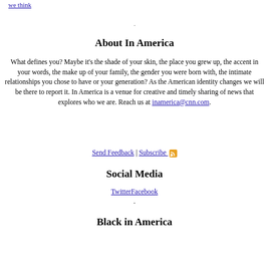we think
About In America
What defines you? Maybe it’s the shade of your skin, the place you grew up, the accent in your words, the make up of your family, the gender you were born with, the intimate relationships you chose to have or your generation? As the American identity changes we will be there to report it. In America is a venue for creative and timely sharing of news that explores who we are. Reach us at inamerica@cnn.com.
Send Feedback | Subscribe
Social Media
TwitterFacebook
.
Black in America